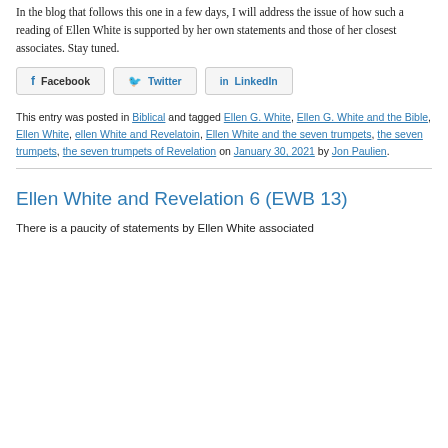In the blog that follows this one in a few days, I will address the issue of how such a reading of Ellen White is supported by her own statements and those of her closest associates. Stay tuned.
[Figure (other): Social share buttons: Facebook, Twitter, LinkedIn]
This entry was posted in Biblical and tagged Ellen G. White, Ellen G. White and the Bible, Ellen White, ellen White and Revelatoin, Ellen White and the seven trumpets, the seven trumpets, the seven trumpets of Revelation on January 30, 2021 by Jon Paulien.
Ellen White and Revelation 6 (EWB 13)
There is a paucity of statements by Ellen White associated